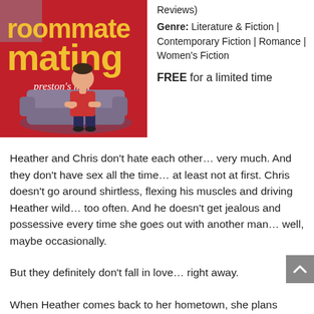[Figure (illustration): Book cover of 'Roommate Mating' by Preston's Mill. Red background with large yellow text 'roommate mating', a cartoon man sitting on a grey couch in a red shirt and dark pants, and the author name in white cursive script.]
Reviews)
Genre: Literature & Fiction | Contemporary Fiction | Romance | Women's Fiction

FREE for a limited time
Heather and Chris don't hate each other... very much. And they don't have sex all the time... at least not at first. Chris doesn't go around shirtless, flexing his muscles and driving Heather wild... too often. And he doesn't get jealous and possessive every time she goes out with another man... well, maybe occasionally.
But they definitely don't fall in love... right away.
When Heather comes back to her hometown, she plans